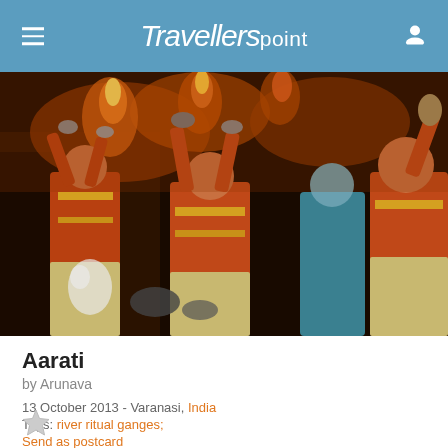Travellerspoint
[Figure (photo): Hindu priests performing Aarati ceremony on the Ganges at Varanasi, India. Men dressed in orange and gold traditional garments hold flaming lamps raised above their heads in a ceremonial fire ritual at night.]
Aarati
by Arunava
13 October 2013 - Varanasi, India
Tags: river ritual ganges;
Send as postcard
Add a comment (0)